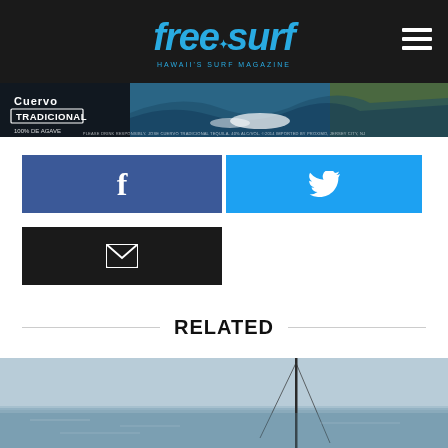freesurf — HAWAII'S SURF MAGAZINE
[Figure (photo): Cuervo Tradicional surf advertisement banner with surfer on a large wave and palm trees]
[Figure (infographic): Social share buttons: Facebook (blue), Twitter (light blue), Email (dark/black)]
RELATED
[Figure (photo): Ocean scene with mast/kite visible, grey-blue water and sky]